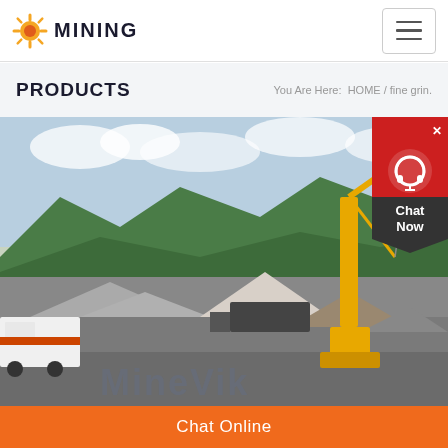[Figure (logo): Mining company logo with orange sun/gear icon and MINING text in dark bold letters]
PRODUCTS   You Are Here:  HOME / fine grin.
[Figure (photo): Outdoor mining/quarry site showing crushed stone piles, heavy equipment including a yellow crane, green hills in the background, and MineVik banner text at the bottom]
[Figure (infographic): Red chat popup button with headset icon and Chat Now label in dark pentagon shape]
Chat Online